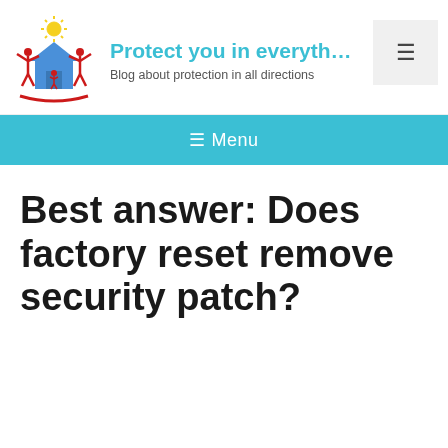[Figure (logo): Website logo showing two red stick figures with arms raised beside a blue house, with a yellow sun above, and a red underline arc below]
Protect you in everyth
Blog about protection in all directions
≡ Menu
Best answer: Does factory reset remove security patch?